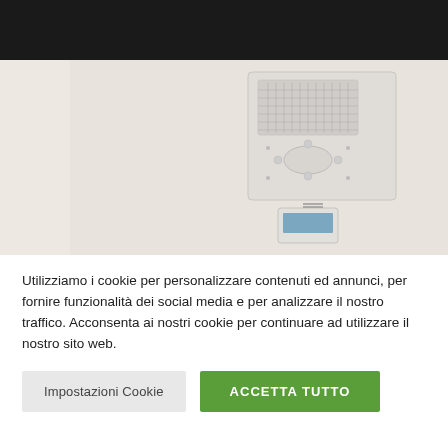[Figure (photo): Photo of a white intercom/doorbell device mounted on a light beige wall, with a speaker grille on top and control buttons below, and a white handheld device at the bottom]
Utilizziamo i cookie per personalizzare contenuti ed annunci, per fornire funzionalità dei social media e per analizzare il nostro traffico. Acconsenta ai nostri cookie per continuare ad utilizzare il nostro sito web.
Impostazioni Cookie
ACCETTA TUTTO